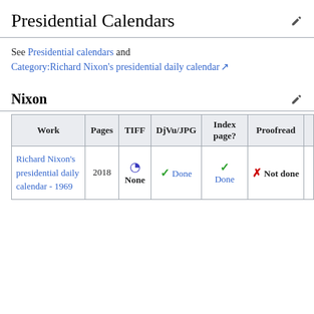Presidential Calendars
See Presidential calendars and Category:Richard Nixon's presidential daily calendar
Nixon
| Work | Pages | TIFF | DjVu/JPG | Index page? | Proofread |  |
| --- | --- | --- | --- | --- | --- | --- |
| Richard Nixon's presidential daily calendar - 1969 | 2018 | None | Done | Done | Not done |  |